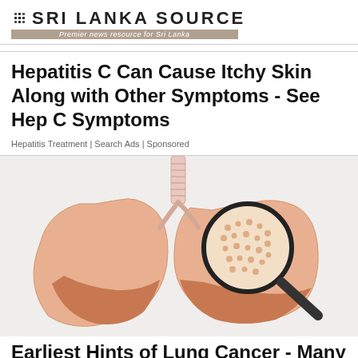Sri Lanka Source — Premier news resource for Sri Lanka
Hepatitis C Can Cause Itchy Skin Along with Other Symptoms - See Hep C Symptoms
Hepatitis Treatment | Search Ads | Sponsored
[Figure (illustration): Medical illustration of human lungs with a magnifying glass focusing on a textured spot on the right lung, shown against a light gray background]
Earliest Hints of Lung Cancer - Many Wish